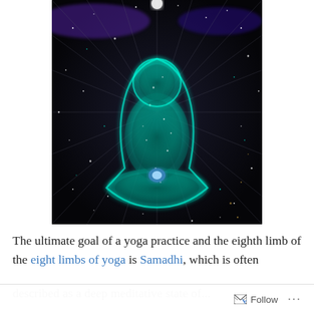[Figure (illustration): A glowing teal/cyan meditating figure in lotus position, silhouetted against a dark background with radiating light streaks and sparkling particles, representing cosmic energy or chakra energy. The figure glows with turquoise light and has a bright light at the crown.]
The ultimate goal of a yoga practice and the eighth limb of the eight limbs of yoga is Samadhi, which is often
described as a deep meditative state of... [partial, cut off]